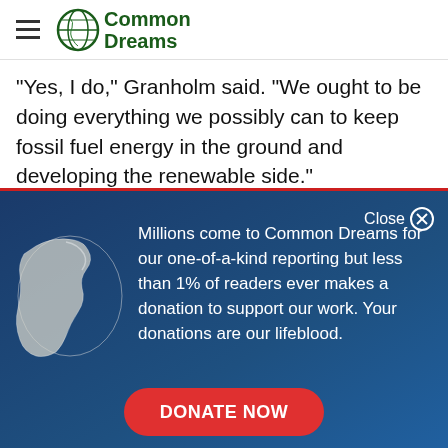[Figure (logo): Common Dreams logo with globe icon and green text]
"Yes, I do," Granholm said. "We ought to be doing everything we possibly can to keep fossil fuel energy in the ground and developing the renewable side."
Close ⊗
[Figure (illustration): White globe/earth illustration on blue background]
Millions come to Common Dreams for our one-of-a-kind reporting but less than 1% of readers ever makes a donation to support our work. Your donations are our lifeblood.
DONATE NOW